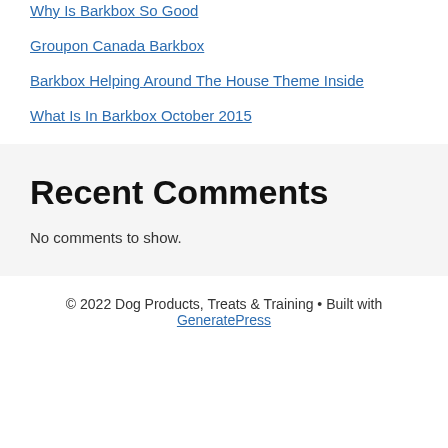Why Is Barkbox So Good
Groupon Canada Barkbox
Barkbox Helping Around The House Theme Inside
What Is In Barkbox October 2015
Recent Comments
No comments to show.
© 2022 Dog Products, Treats & Training • Built with GeneratePress